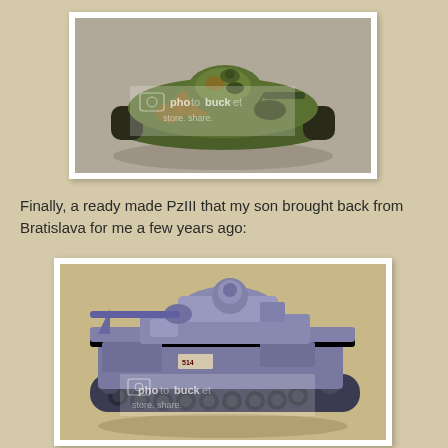[Figure (photo): Miniature tank model with green camouflage paint scheme viewed from above/side, with photobucket watermark overlay]
Finally, a ready made PzIII that my son brought back from Bratislava for me a few years ago:
[Figure (photo): Miniature PzIII tank model painted in grey/blue color scheme, viewed from side angle, with photobucket watermark overlay]